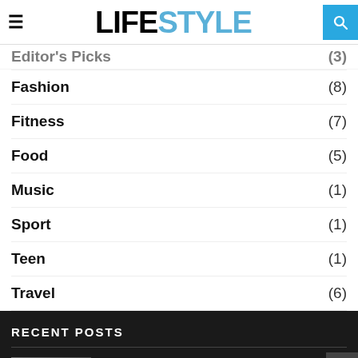LIFESTYLE
Editor's Picks (3)
Fashion (8)
Fitness (7)
Food (5)
Music (1)
Sport (1)
Teen (1)
Travel (6)
RECENT POSTS
How To Look Incredible In A Bikini This Summer
09/01/2021  0